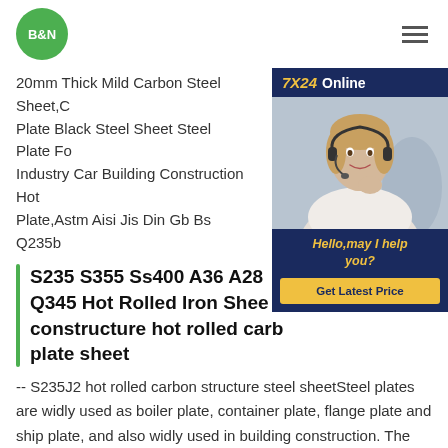B&N
20mm Thick Mild Carbon Steel Sheet, Plate Black Steel Sheet Steel Plate Fo Industry Car Building Construction Hot Plate,Astm Aisi Jis Din Gb Bs Q235b
[Figure (photo): Customer support agent with headset, 7X24 Online chat widget with 'Hello, may I help you?' greeting and 'Get Latest Price' button]
S235 S355 Ss400 A36 A28 Q345 Hot Rolled Iron Sheet constructure hot rolled carb plate sheet
-- S235J2 hot rolled carbon structure steel sheetSteel plates are widly used as boiler plate, container plate, flange plate and ship plate, and also widly used in building construction. The size of steel plate can be